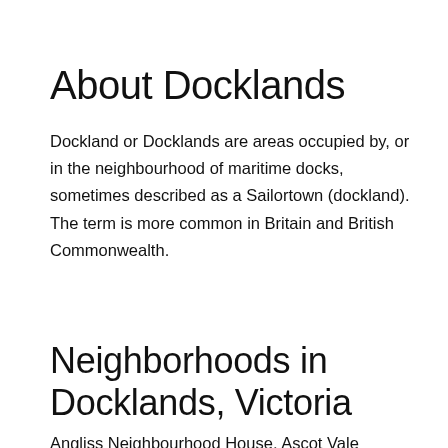About Docklands
Dockland or Docklands are areas occupied by, or in the neighbourhood of maritime docks, sometimes described as a Sailortown (dockland). The term is more common in Britain and British Commonwealth.
Neighborhoods in Docklands, Victoria
Angliss Neighbourhood House, Ascot Vale